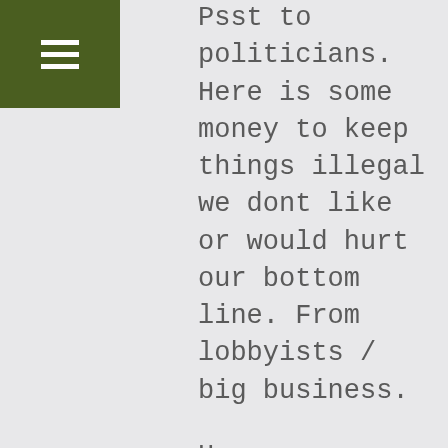[Figure (other): Green hamburger menu icon on dark olive green background in top-left corner]
Psst to politicians. Here is some money to keep things illegal we dont like or would hurt our bottom line. From lobbyists / big business.
Hemp, marijuana, cbd, thc whatever it is should not be your choice (without the majority of peoples input) to decide its illegality (or whatever you want to call it). I say if half (or more) of the states which we have decided to allow this product then the feds/any govt department needs to GTFO... Doesn't that say its what the people want?